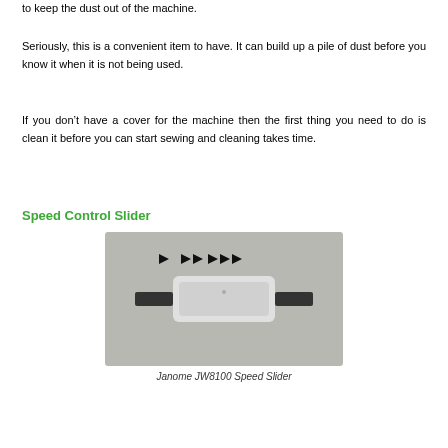to keep the dust out of the machine.
Seriously, this is a convenient item to have. It can build up a pile of dust before you know it when it is not being used.
If you don’t have a cover for the machine then the first thing you need to do is clean it before you can start sewing and cleaning takes time.
Speed Control Slider
[Figure (photo): Close-up photo of the Janome JW8100 speed control slider showing a white slider mechanism with three speed indicator icons (single arrow, double arrow, triple arrow) above it on a gray background.]
Janome JW8100 Speed Slider